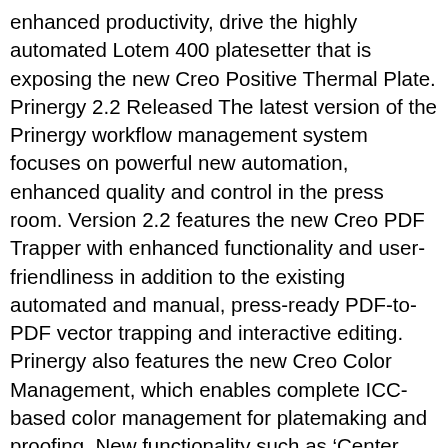enhanced productivity, drive the highly automated Lotem 400 platesetter that is exposing the new Creo Positive Thermal Plate. Prinergy 2.2 Released The latest version of the Prinergy workflow management system focuses on powerful new automation, enhanced quality and control in the press room. Version 2.2 features the new Creo PDF Trapper with enhanced functionality and user-friendliness in addition to the existing automated and manual, press-ready PDF-to-PDF vector trapping and interactive editing. Prinergy also features the new Creo Color Management, which enables complete ICC-based color management for platemaking and proofing. New functionality such as ‘Center Page’ and the ‘CEPS Detector’ reduce the need for manual intervention as well as enhancements for exiting licensable features such as the Advanced Production Automation Editor. Prinergy 2.2 also features new versions of Creo Virtual Proofing System software for Mac OS X and